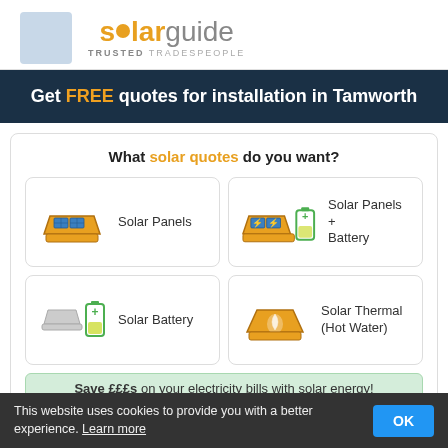[Figure (logo): SolarGuide logo with sun icon and tagline TRUSTED TRADESPEOPLE]
Get FREE quotes for installation in Tamworth
What solar quotes do you want?
Solar Panels
Solar Panels + Battery
Solar Battery
Solar Thermal (Hot Water)
Save £££s on your electricity bills with solar energy!
This website uses cookies to provide you with a better experience. Learn more